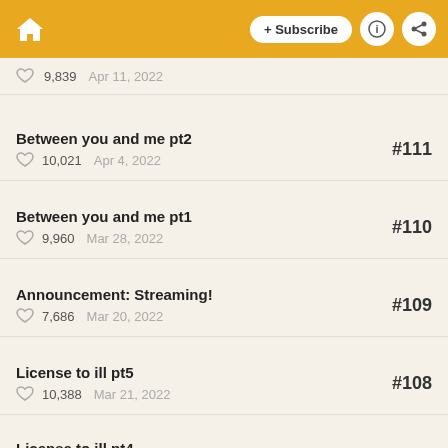Home | + Subscribe | Info | Share
9,839   Apr 11, 2022
Between you and me pt2 | 10,021   Apr 4, 2022 | #111
Between you and me pt1 | 9,960   Mar 28, 2022 | #110
Announcement: Streaming! | 7,686   Mar 20, 2022 | #109
License to ill pt5 | 10,388   Mar 21, 2022 | #108
License to ill pt4 | 10,717   Mar 14, 2022 | #107
License to ill pt3 | #106